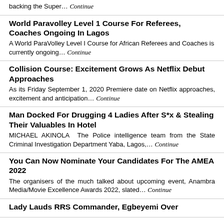backing the Super… Continue
World Paravolley Level 1 Course For Referees, Coaches Ongoing In Lagos
A World ParaVolley Level I Course for African Referees and Coaches is currently ongoing… Continue
Collision Course: Excitement Grows As Netflix Debut Approaches
As its Friday September 1, 2020 Premiere date on Netflix approaches, excitement and anticipation… Continue
Man Docked For Drugging 4 Ladies After S*x & Stealing Their Valuables In Hotel
MICHAEL AKINOLA  The Police intelligence team from the State Criminal Investigation Department Yaba, Lagos,… Continue
You Can Now Nominate Your Candidates For The AMEA 2022
The organisers of the much talked about upcoming event, Anambra Media/Movie Excellence Awards 2022, slated… Continue
Lady Lauds RRS Commander, Egbeyemi Over